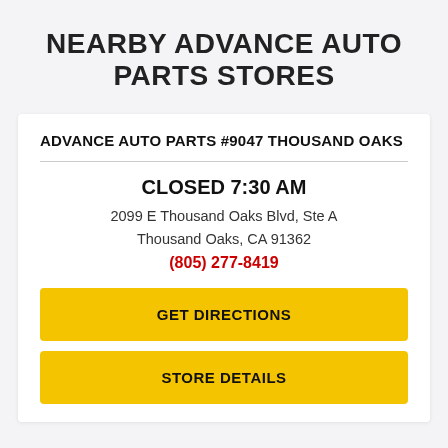NEARBY ADVANCE AUTO PARTS STORES
ADVANCE AUTO PARTS #9047 THOUSAND OAKS
CLOSED 7:30 AM
2099 E Thousand Oaks Blvd, Ste A
Thousand Oaks, CA 91362
(805) 277-8419
GET DIRECTIONS
STORE DETAILS